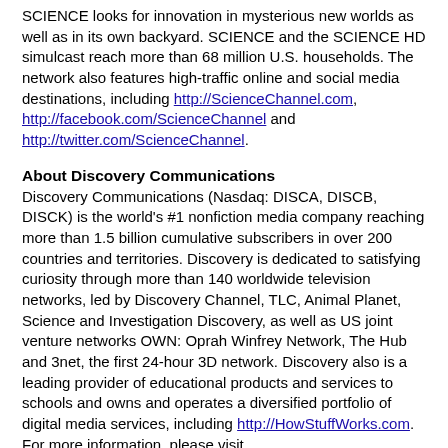SCIENCE looks for innovation in mysterious new worlds as well as in its own backyard. SCIENCE and the SCIENCE HD simulcast reach more than 68 million U.S. households. The network also features high-traffic online and social media destinations, including http://ScienceChannel.com, http://facebook.com/ScienceChannel and http://twitter.com/ScienceChannel.
About Discovery Communications
Discovery Communications (Nasdaq: DISCA, DISCB, DISCK) is the world's #1 nonfiction media company reaching more than 1.5 billion cumulative subscribers in over 200 countries and territories. Discovery is dedicated to satisfying curiosity through more than 140 worldwide television networks, led by Discovery Channel, TLC, Animal Planet, Science and Investigation Discovery, as well as US joint venture networks OWN: Oprah Winfrey Network, The Hub and 3net, the first 24-hour 3D network. Discovery also is a leading provider of educational products and services to schools and owns and operates a diversified portfolio of digital media services, including http://HowStuffWorks.com. For more information, please visit http://www.discoverycommunications.com.
ABOUT REEDPOP: ReedPOP is a boutique group within Reed Exhibitions which is exclusively devoted to organizing events, launching and acquiring new shows, and partnering with premium brands to bring consumers and content together. ReedPOP includes...